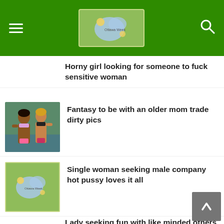Ottawa Week (header logo with hamburger menu and search icon)
Horny girl looking for someone to fuck sensitive woman
[Figure (photo): Two women in bikinis standing outdoors]
Fantasy to be with an older mom trade dirty pics
[Figure (logo): Ottawa Week green logo placeholder]
Single woman seeking male company hot pussy loves it all
Lady seeking fun with like minded others financially for mutual favours
Looking for a casual relationship no drama